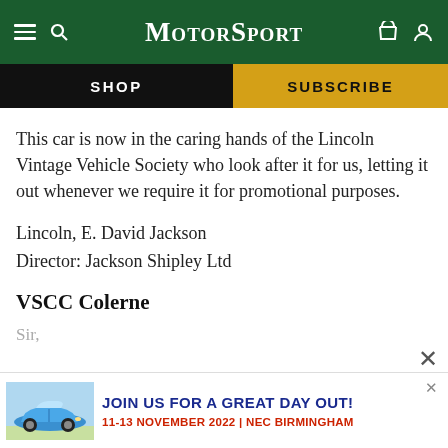MotorSport
This car is now in the caring hands of the Lincoln Vintage Vehicle Society who look after it for us, letting it out whenever we require it for promotional purposes.
Lincoln, E. David Jackson
Director: Jackson Shipley Ltd
VSCC Colerne
Sir,
[Figure (infographic): Advertisement banner: Blue Porsche 911 car image on left, text 'JOIN US FOR A GREAT DAY OUT! 11-13 NOVEMBER 2022 | NEC BIRMINGHAM' on right]